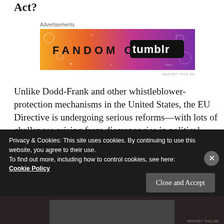Act?
[Figure (screenshot): Tumblr advertisement banner: colorful gradient (orange to purple) background with doodles, text reads FANDOM ON tumblr]
Unlike Dodd-Frank and other whistleblower-protection mechanisms in the United States, the EU Directive is undergoing serious reforms—with lots of challenges arising from discrepancies in political systems and governmental processes among Eurozone countries. But it is a giant stride towards improving freedom of speech as
Privacy & Cookies: This site uses cookies. By continuing to use this website, you agree to their use.
To find out more, including how to control cookies, see here: Cookie Policy
Close and Accept